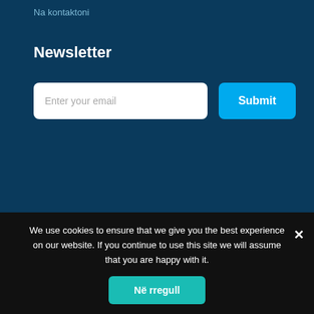Na kontaktoni
Newsletter
Enter your email
Submit
We use cookies to ensure that we give you the best experience on our website. If you continue to use this site we will assume that you are happy with it.
Në rregull